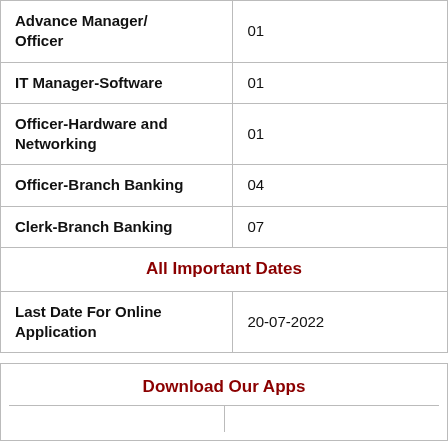| Position | Count |
| --- | --- |
| Advance Manager/ Officer | 01 |
| IT Manager-Software | 01 |
| Officer-Hardware and Networking | 01 |
| Officer-Branch Banking | 04 |
| Clerk-Branch Banking | 07 |
| All Important Dates |  |
| Last Date For Online Application | 20-07-2022 |
Download Our Apps